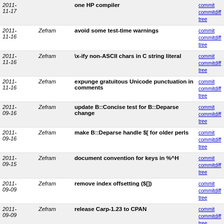| Date | Author | Message | Links |
| --- | --- | --- | --- |
| 2011-11-17 | Zefram | one HP compiler | commit | commitdiff | tree |
| 2011-11-16 | Zefram | avoid some test-time warnings | commit | commitdiff | tree |
| 2011-11-16 | Zefram | \x-ify non-ASCII chars in C string literal | commit | commitdiff | tree |
| 2011-11-16 | Zefram | expunge gratuitous Unicode punctuation in comments | commit | commitdiff | tree |
| 2011-09-16 | Zefram | update B::Concise test for B::Deparse change | commit | commitdiff | tree |
| 2011-09-16 | Zefram | make B::Deparse handle $[ for older perls | commit | commitdiff | tree |
| 2011-09-15 | Zefram | document convention for keys in %^H | commit | commitdiff | tree |
| 2011-09-09 | Zefram | remove index offsetting ($[]) | commit | commitdiff | tree |
| 2011-09-09 | Zefram | release Carp-1.23 to CPAN | commit | commitdiff | tree |
| 2011-09-09 | Zefram | make Carp::Heavy load Carp for backcompat | commit | commitdiff | tree |
| 2011-09-04 | Zefram | improve Carp portability to earlier perls | commit | commitdiff | tree |
| 2011-09-04 | Zefram | dual-life Carp | commit | commitdiff | tree |
| 2011-09-04 | Zefram | move Carp to ext/Carp, preparing for dual-lifing | commit | commitdiff | tree |
| 2011-07-23 | Zefram | discuss epigraphs.pod link to announcements in RMG | commit | commitdiff | tree |